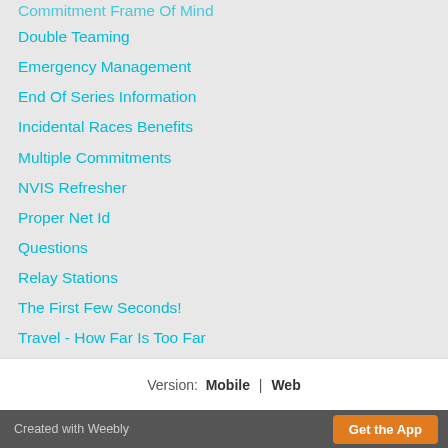Commitment Frame Of Mind
Double Teaming
Emergency Management
End Of Series Information
Incidental Races Benefits
Multiple Commitments
NVIS Refresher
Proper Net Id
Questions
Relay Stations
The First Few Seconds!
Travel - How Far Is Too Far
Understanding Volunteers
Why Amateurs?
Why We Do What We Do!
Version: Mobile | Web
Created with Weebly  Get the App